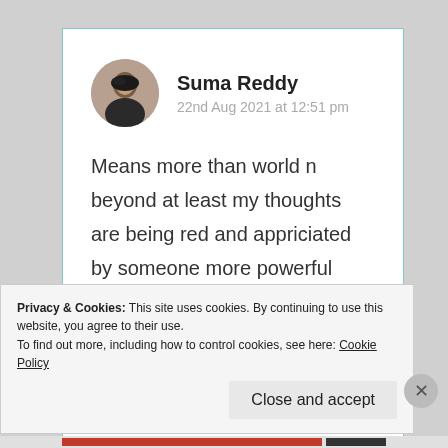Suma Reddy
22nd Aug 2021 at 12:51 pm
Means more than world n beyond at least my thoughts are being red and appriciated by someone more powerful than me. Greatful to you dearest ❤️🙏🙏
Privacy & Cookies: This site uses cookies. By continuing to use this website, you agree to their use.
To find out more, including how to control cookies, see here: Cookie Policy
Close and accept